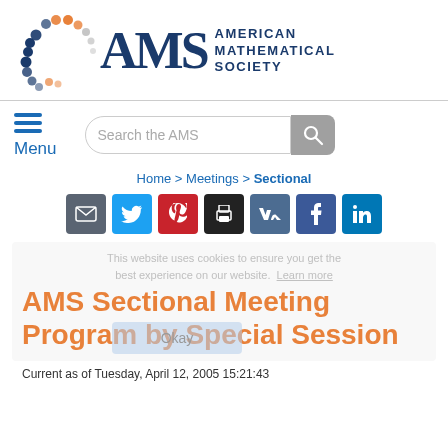[Figure (logo): AMS (American Mathematical Society) logo with colorful dot arc and bold AMS letters in dark blue, with full name to the right]
Search the AMS
Menu
Home > Meetings > Sectional
[Figure (other): Row of social sharing buttons: email (grey), Twitter (blue), Pinterest (red), print (black), VK (slate blue), Facebook (dark blue), LinkedIn (blue)]
This website uses cookies to ensure you get the best experience on our website. Learn more
AMS Sectional Meeting Program by Special Session
Okay
Current as of Tuesday, April 12, 2005 15:21:43